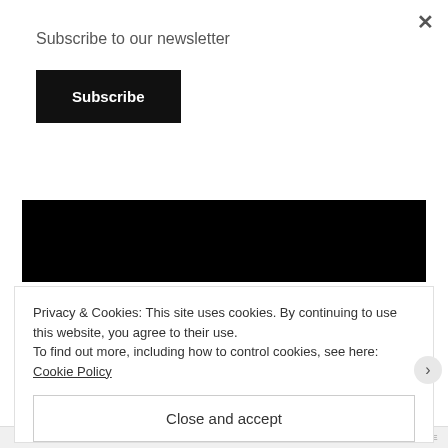Subscribe to our newsletter
Subscribe
[Figure (photo): Dark/black image with faint red and orange light spots, possibly a night sky or astrophotography image]
Privacy & Cookies: This site uses cookies. By continuing to use this website, you agree to their use.
To find out more, including how to control cookies, see here: Cookie Policy
Close and accept